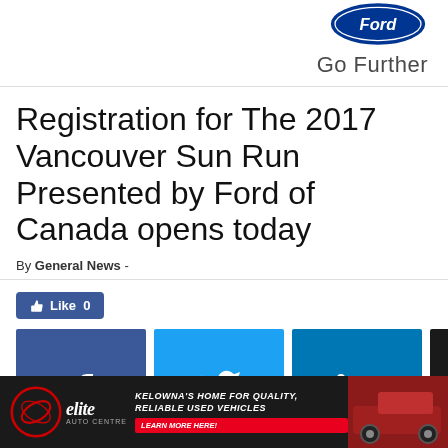[Figure (logo): Ford logo oval (blue/white) with 'Go Further' tagline below, right-aligned]
Registration for The 2017 Vancouver Sun Run Presented by Ford of Canada opens today
By General News -
[Figure (infographic): Social sharing buttons: Facebook Like (0), Facebook, Twitter, LinkedIn, Email, Print]
[Figure (infographic): Elite Auto Centre advertisement banner: Kelowna's Home for Quality, Reliable Used Vehicles. Learn More Here!]